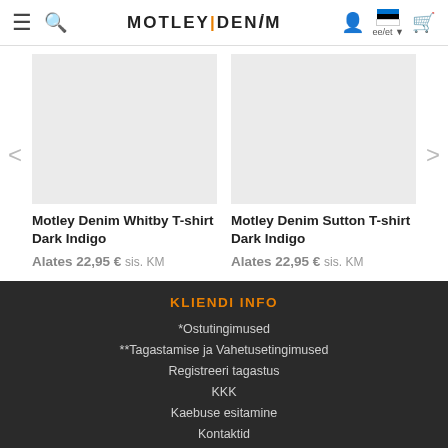MOTLEY|DENIM  ee/et
Motley Denim Whitby T-shirt Dark Indigo
Alates 22,95 € sis. KM
Motley Denim Sutton T-shirt Dark Indigo
Alates 22,95 € sis. KM
KLIENDI INFO
*Ostutingimused
**Tagastamise ja Vahetusetingimused
Registreeri tagastus
KKK
Kaebuse esitamine
Kontaktid